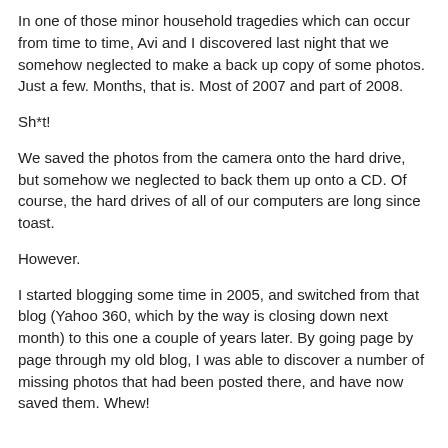In one of those minor household tragedies which can occur from time to time, Avi and I discovered last night that we somehow neglected to make a back up copy of some photos. Just a few. Months, that is. Most of 2007 and part of 2008.
Sh*t!
We saved the photos from the camera onto the hard drive, but somehow we neglected to back them up onto a CD. Of course, the hard drives of all of our computers are long since toast.
However.
I started blogging some time in 2005, and switched from that blog (Yahoo 360, which by the way is closing down next month) to this one a couple of years later. By going page by page through my old blog, I was able to discover a number of missing photos that had been posted there, and have now saved them. Whew!